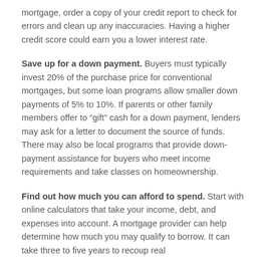mortgage, order a copy of your credit report to check for errors and clean up any inaccuracies. Having a higher credit score could earn you a lower interest rate.
Save up for a down payment. Buyers must typically invest 20% of the purchase price for conventional mortgages, but some loan programs allow smaller down payments of 5% to 10%. If parents or other family members offer to “gift” cash for a down payment, lenders may ask for a letter to document the source of funds. There may also be local programs that provide down-payment assistance for buyers who meet income requirements and take classes on homeownership.
Find out how much you can afford to spend. Start with online calculators that take your income, debt, and expenses into account. A mortgage provider can help determine how much you may qualify to borrow. It can take three to five years to recoup real